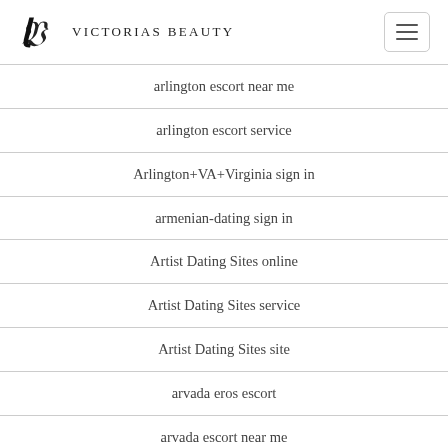Victorias Beauty
arlington escort near me
arlington escort service
Arlington+VA+Virginia sign in
armenian-dating sign in
Artist Dating Sites online
Artist Dating Sites service
Artist Dating Sites site
arvada eros escort
arvada escort near me